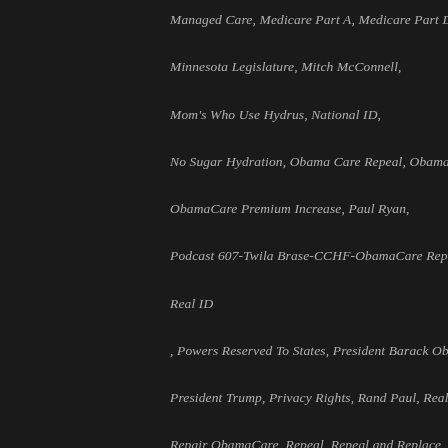Managed Care, Medicare Part A, Medicare Part D, Minnesota Legislature, Mitch McConnell, Mom's Who Use Hydrus, National ID, No Sugar Hydration, Obama Care Repeal, Obamacare, ObamaCare Premium Increase, Paul Ryan, Podcast 607-Twila Brase-CCHF-ObamaCare Repeal-Real ID , Powers Reserved To States, President Barack Obama, President Trump, Privacy Rights, Rand Paul, Real ID, Repair ObamaCare, Repeal, Repeal and Replace, Repeal Obamacare, Repealing Obamacare, Republican Congress, Republicans, Republicans Lie, Ryan In Floor Heating, Ryan Plumbing, Ryan Plumbing and Heating of Saint Paul, Ryan Plumbing Emergency Service, Ryan Plumbing For Business, Ryan Plumbing Heating Check, ryanplumbing.com, Senators, SUV Sale End Of Year At X Government Cars, SUV's At X Government Cars, Tennis with Hydrus,